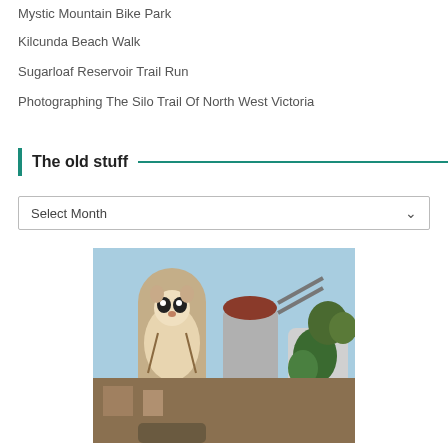Mystic Mountain Bike Park
Kilcunda Beach Walk
Sugarloaf Reservoir Trail Run
Photographing The Silo Trail Of North West Victoria
The old stuff
Select Month
[Figure (photo): Photograph of painted grain silos showing a sugar glider mural on a tall cylindrical silo, with additional silos and a rural landscape in the background under a blue sky.]